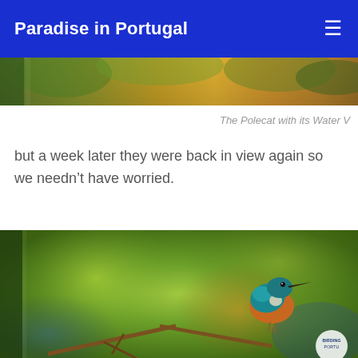Paradise in Portugal
[Figure (photo): Partial top strip of an outdoor nature photograph, showing warm golden/orange tones with foliage]
The Polecat with its Water V
but a week later they were back in view again so we needn't have worried.
[Figure (photo): A kingfisher bird with teal/turquoise and orange plumage perched on a bare branch, with blurred green foliage background. Birding Portugal watermark in bottom right corner.]